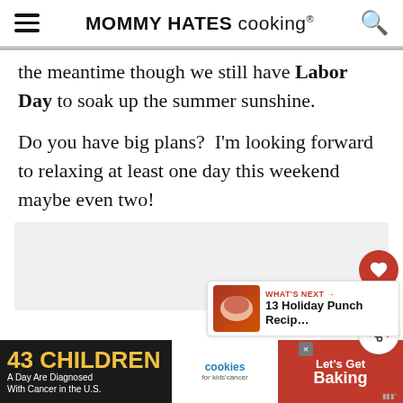MOMMY HATES cooking®
the meantime though we still have Labor Day to soak up the summer sunshine.
Do you have big plans?  I'm looking forward to relaxing at least one day this weekend maybe even two!
[Figure (screenshot): Gray content placeholder area below main text]
[Figure (infographic): What's Next widget showing '13 Holiday Punch Recip...' with food image thumbnail]
[Figure (infographic): Advertisement bar: '43 CHILDREN A Day Are Diagnosed With Cancer in the U.S.' cookies for kids cancer 'Let's Get Baking']